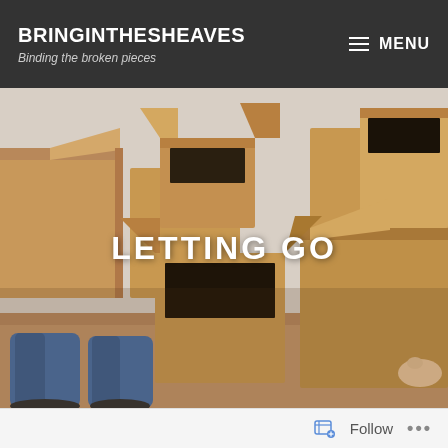BRINGINTHESHEAVES — Binding the broken pieces | MENU
[Figure (photo): Person lying on the floor buried under a pile of open cardboard moving boxes in a room. The person's legs in jeans are visible at the bottom left. Many brown cardboard boxes of various sizes surround them.]
LETTING GO
Follow ...